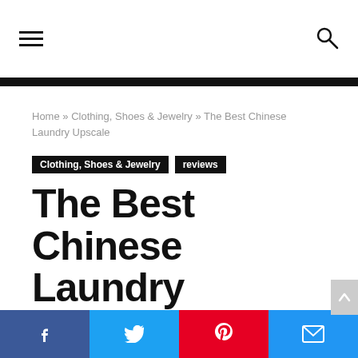Navigation bar with hamburger menu and search icon
Home » Clothing, Shoes & Jewelry » The Best Chinese Laundry Upscale
Clothing, Shoes & Jewelry   reviews
The Best Chinese Laundry Upscale
jumpgatelink • July 15, 2020  👁 1  💬
0°  −  +  [progress bar]
Facebook  Twitter  Pinterest  Email